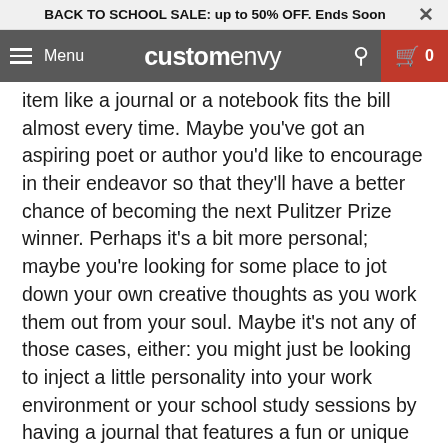BACK TO SCHOOL SALE: up to 50% OFF. Ends Soon ×
[Figure (screenshot): CustomEnvy website navigation bar with hamburger menu, logo, search icon, and cart button showing 0 items]
item like a journal or a notebook fits the bill almost every time. Maybe you've got an aspiring poet or author you'd like to encourage in their endeavor so that they'll have a better chance of becoming the next Pulitzer Prize winner. Perhaps it's a bit more personal; maybe you're looking for some place to jot down your own creative thoughts as you work them out from your soul. Maybe it's not any of those cases, either: you might just be looking to inject a little personality into your work environment or your school study sessions by having a journal that features a fun or unique design, one that's one-of-a-kind..
Whatever the reason behind your decision, the truth is that, custom journals or notebooks are one great